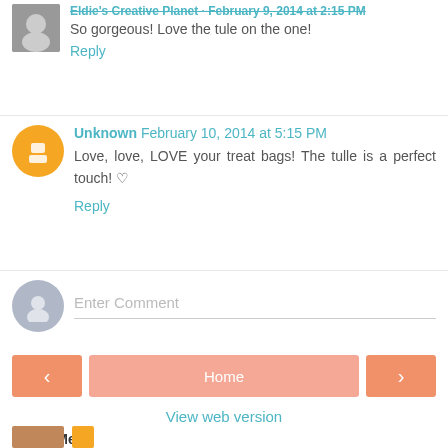So gorgeous! Love the tule on the one!
Reply
Unknown February 10, 2014 at 5:15 PM
Love, love, LOVE your treat bags! The tulle is a perfect touch! ♡
Reply
Enter Comment
Home
View web version
About Me